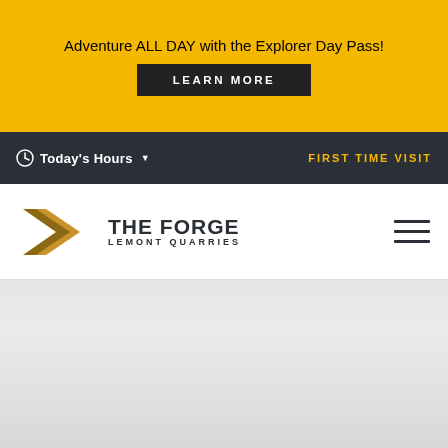Adventure ALL DAY with the Explorer Day Pass!
LEARN MORE
Today's Hours
FIRST TIME VISIT
[Figure (logo): The Forge Lemont Quarries logo with golden chevron/arrow icon and dark text]
[Figure (other): Hamburger menu icon (three horizontal lines)]
[Figure (photo): Gray gradient background area below the header navigation]